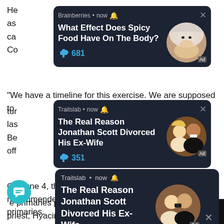He as ca Co
[Figure (screenshot): Ad card from Brainberries showing article: What Effect Does Spicy Food Have On The Body? with 681 likes, circular photo of a woman, now timestamp]
"We have a timeline for this exercise. We are supposed to tur las Be off
[Figure (screenshot): Ad card from Traitslab showing article: The Real Reason Jonathan Scott Divorced His Ex-Wife with 351 likes, circular photo of a couple, now timestamp]
On June 4, the appeal committee of the APC recommended the nullification of the governorship primaries.
The Benue APC had adopted direct primaries which the governorship congress held on May 27.
e primaries produced a suspended Catholic priest, Hyacinth Alia as the winner.